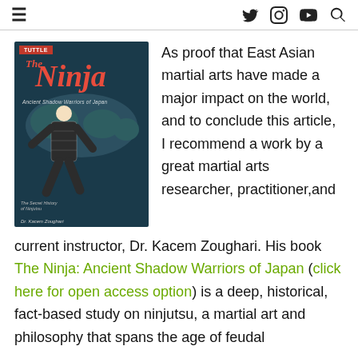≡  [Twitter] [Instagram] [YouTube] [Search]
[Figure (illustration): Book cover of 'The Ninja: Ancient Shadow Warriors of Japan' by Dr. Kacem Zoughari, published by Tuttle. Dark blue background with a warrior figure in patterned clothing.]
As proof that East Asian martial arts have made a major impact on the world, and to conclude this article, I recommend a work by a great martial arts researcher, practitioner,and current instructor, Dr. Kacem Zoughari. His book The Ninja: Ancient Shadow Warriors of Japan (click here for open access option) is a deep, historical, fact-based study on ninjutsu, a martial art and philosophy that spans the age of feudal